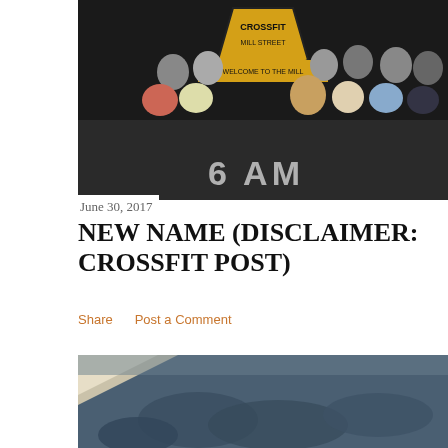[Figure (photo): Group photo of CrossFit Mill Street members posing on a dark gym floor with '6 AM' written in chalk. A yellow and black CrossFit Mill Street banner is visible in the background.]
June 30, 2017
NEW NAME (DISCLAIMER: CROSSFIT POST)
Share    Post a Comment
[Figure (photo): Outdoor sky photo with dark blue-grey clouds, partially obscured by a diagonal light-colored surface in the upper left corner.]